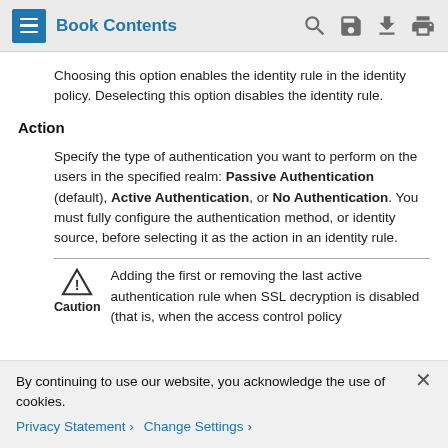Book Contents
Choosing this option enables the identity rule in the identity policy. Deselecting this option disables the identity rule.
Action
Specify the type of authentication you want to perform on the users in the specified realm: Passive Authentication (default), Active Authentication, or No Authentication. You must fully configure the authentication method, or identity source, before selecting it as the action in an identity rule.
Caution: Adding the first or removing the last active authentication rule when SSL decryption is disabled (that is, when the access control policy
By continuing to use our website, you acknowledge the use of cookies.
Privacy Statement › Change Settings ›